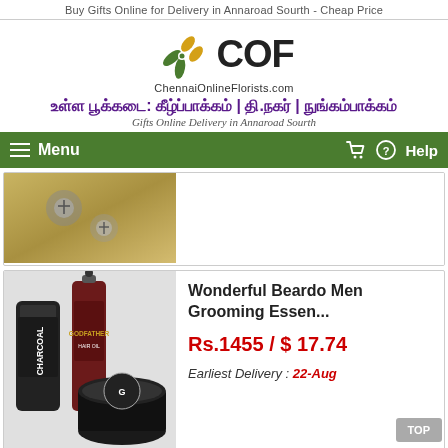Buy Gifts Online for Delivery in Annaroad Sourth - Cheap Price
[Figure (logo): COF ChennaiOnlineFlorists.com logo with green and yellow flower/leaf graphic]
உள்ள பூக்கடை: கீழ்ப்பாக்கம் | தி.நகர் | நுங்கம்பாக்கம்
Gifts Online Delivery in Annaroad Sourth
Menu
[Figure (photo): Partial product image showing metallic screws or tools on golden background]
[Figure (photo): Beardo men grooming kit with charcoal face wash, Godfather hair oil, and hair wax tin]
Wonderful Beardo Men Grooming Essen...
Rs.1455 / $ 17.74
Earliest Delivery : 22-Aug